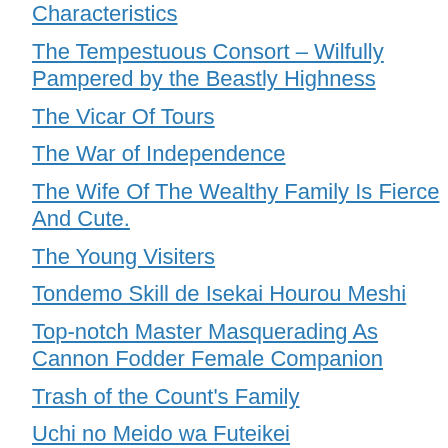Characteristics
The Tempestuous Consort – Wilfully Pampered by the Beastly Highness
The Vicar Of Tours
The War of Independence
The Wife Of The Wealthy Family Is Fierce And Cute.
The Young Visiters
Tondemo Skill de Isekai Hourou Meshi
Top-notch Master Masquerading As Cannon Fodder Female Companion
Trash of the Count's Family
Uchi no Meido wa Futeikei
Ulysses S. Grant